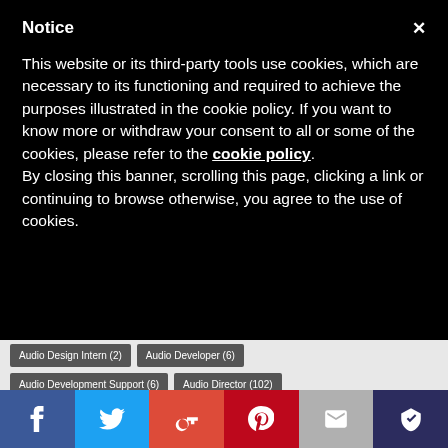Notice
This website or its third-party tools use cookies, which are necessary to its functioning and required to achieve the purposes illustrated in the cookie policy. If you want to know more or withdraw your consent to all or some of the cookies, please refer to the cookie policy. By closing this banner, scrolling this page, clicking a link or continuing to browse otherwise, you agree to the use of cookies.
Audio Design Intern (2)
Audio Developer (6)
Audio Development Support (6)
Audio Director (102)
Audio DSP Firmware Engineer (2)
Audio Editor (15)
Audio Editor / Sound Engineer (2)
Audio Engineer (83)